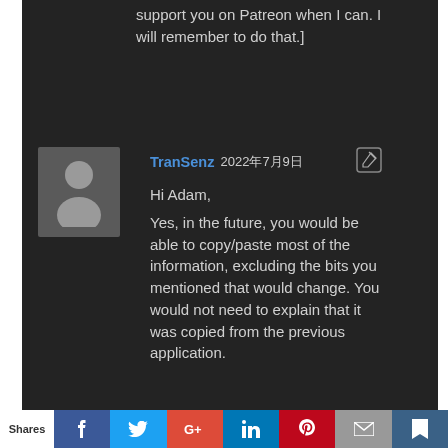support you on Patreon when I can. I will remember to do that.]
TranSenz 2022年7月9日
Hi Adam,
Yes, in the future, you would be able to copy/paste most of the information, excluding the bits you mentioned that would change. You would not need to explain that it was copied from the previous application.
Shares | Facebook | Twitter | Google+ | LinkedIn | Pinterest | Email | Bookmark